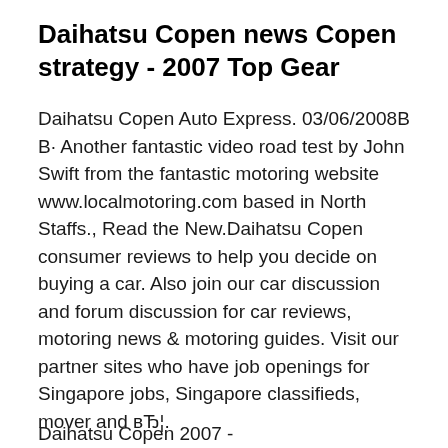Daihatsu Copen news Copen strategy - 2007 Top Gear
Daihatsu Copen Auto Express. 03/06/2008В В· Another fantastic video road test by John Swift from the fantastic motoring website www.localmotoring.com based in North Staffs., Read the New.Daihatsu Copen consumer reviews to help you decide on buying a car. Also join our car discussion and forum discussion for car reviews, motoring news & motoring guides. Visit our partner sites who have job openings for Singapore jobs, Singapore classifieds, mover and вЂ¦.
Daihatsu Copen 2007 - (partial, cut off)